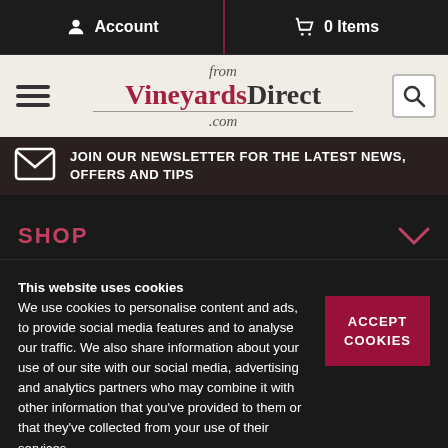Account   0 Items
[Figure (logo): from VineyardsDirect.com logo on cream background with hamburger menu and search icon]
JOIN OUR NEWSLETTER FOR THE LATEST NEWS, OFFERS AND TIPS
SHOP
This website uses cookies
We use cookies to personalise content and ads, to provide social media features and to analyse our traffic. We also share information about your use of our site with our social media, advertising and analytics partners who may combine it with other information that you've provided to them or that they've collected from your use of their services.